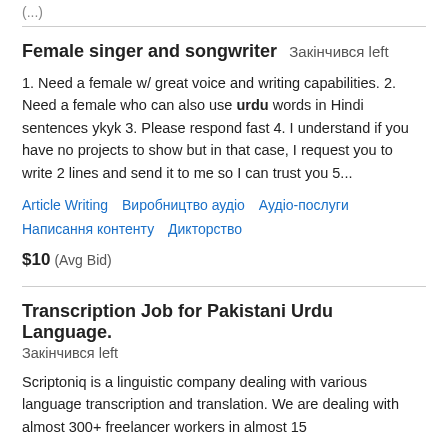Female singer and songwriter  Закінчився left
1. Need a female w/ great voice and writing capabilities. 2. Need a female who can also use urdu words in Hindi sentences ykyk 3. Please respond fast 4. I understand if you have no projects to show but in that case, I request you to write 2 lines and send it to me so I can trust you 5...
Article Writing   Виробництво аудіо   Аудіо-послуги   Написання контенту   Дикторство
$10  (Avg Bid)
Transcription Job for Pakistani Urdu Language.
Закінчився left
Scriptoniq is a linguistic company dealing with various language transcription and translation. We are dealing with almost 300+ freelancer workers in almost 15